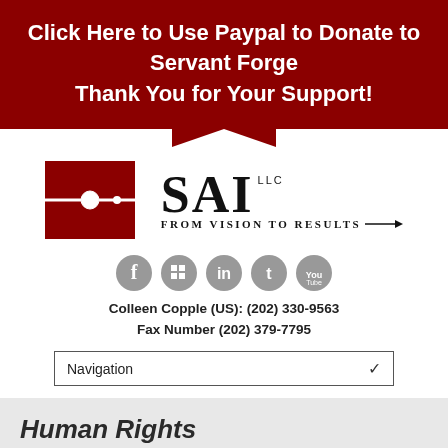Click Here to Use Paypal to Donate to Servant Forge
Thank You for Your Support!
[Figure (logo): SAI LLC From Vision To Results logo with dark red square graphic and arrow]
[Figure (infographic): Social media icons: Facebook, Google+, LinkedIn, Twitter, YouTube]
Colleen Copple (US): (202) 330-9563
Fax Number (202) 379-7795
Navigation
Human Rights